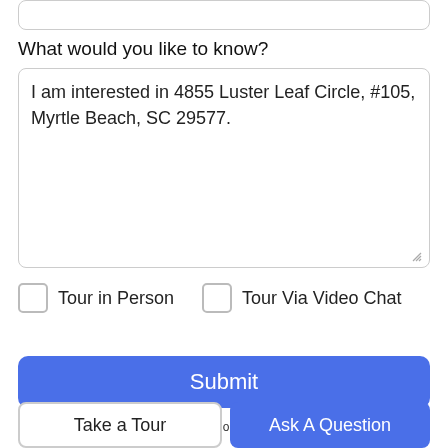What would you like to know?
I am interested in 4855 Luster Leaf Circle, #105, Myrtle Beach, SC 29577.
Tour in Person
Tour Via Video Chat
Submit
Disclaimer: By entering your information and submitting this form, you agree
Take a Tour
Ask A Question